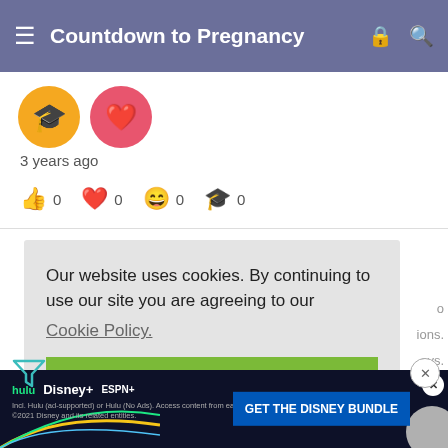Countdown to Pregnancy
[Figure (screenshot): Two avatar icons: yellow circle with graduation cap emoji and pink/red circle with heart emoji]
3 years ago
👍 0   ❤️ 0   😄 0   🎓 0
Our website uses cookies. By continuing to use our site you are agreeing to our Cookie Policy.
I agree
Hubby ... stay here a... ...und... cried and after all that we talked. We have to see a gene...
[Figure (screenshot): Disney Bundle advertisement banner: Hulu, Disney+, ESPN+ logos with GET THE DISNEY BUNDLE call to action]